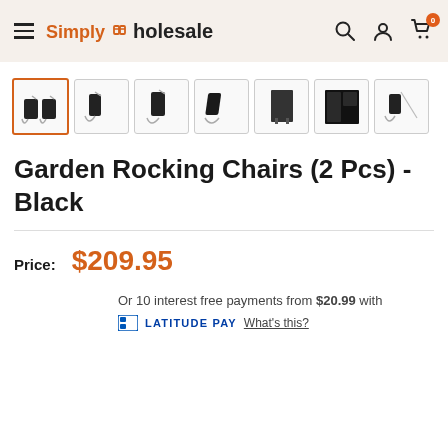Simply Wholesale
[Figure (screenshot): Product thumbnail image gallery showing 7 thumbnails of Garden Rocking Chairs (black). The first thumbnail is selected with an orange border.]
Garden Rocking Chairs (2 Pcs) - Black
Price: $209.95
Or 10 interest free payments from $20.99 with LATITUDE PAY What's this?